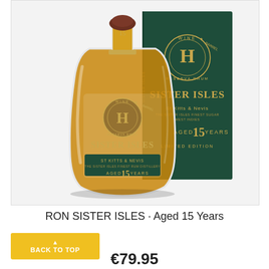[Figure (photo): Product photo of Sister Isles Reserva Rum bottle (aged 15 years, limited edition) with green gift box. Bottle has amber rum, gold label with 'H' insignia and 'SISTER ISLES' text, green band reading 'St Kitts & Nevis, Aged 15 Years'. Box is dark green with gold text 'SISTER ISLES, St Kitts & Nevis, Aged 15 Years, Limited Edition' and Wine Barrel Reserva Rum logo.]
RON SISTER ISLES · Aged 15 Years
BACK TO TOP
€79.95